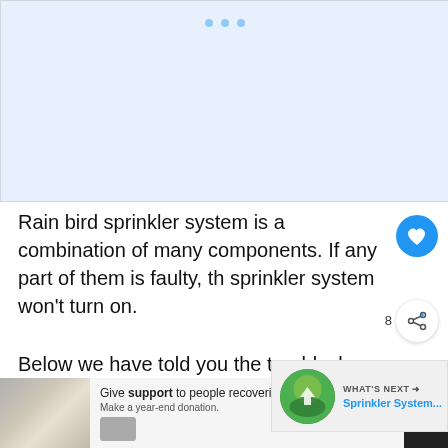[Figure (other): Placeholder image area with light blue background and three small dots at top center]
Rain bird sprinkler system is a combination of many components. If any part of them is faulty, the sprinkler system won't turn on.
Below we have told you the troubleshooting basic problems with rain bird sprinkler system.
[Figure (other): What's Next recommendation box with circular green image thumbnail and text: Sprinkler System...]
[Figure (other): Advertisement banner at bottom with photo of person, text: Give support to people recovering from crisis. Make a year-end donation.]